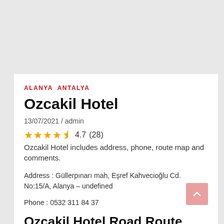ALANYA  ANTALYA
Ozcakil Hotel
13/07/2021 / admin
★★★★½  4.7 (28)
Ozcakil Hotel includes address, phone, route map and comments.
Address : Güllerpınarı mah, Eşref Kahvecioğlu Cd. No:15/A, Alanya – undefined
Phone : 0532 311 84 37
Ozcakil Hotel Road Route